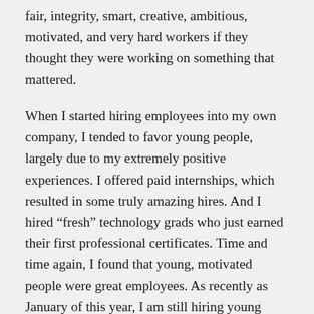fair, integrity, smart, creative, ambitious, motivated, and very hard workers if they thought they were working on something that mattered.
When I started hiring employees into my own company, I tended to favor young people, largely due to my extremely positive experiences. I offered paid internships, which resulted in some truly amazing hires. And I hired “fresh” technology grads who just earned their first professional certificates. Time and time again, I found that young, motivated people were great employees. As recently as January of this year, I am still hiring young people for my business.